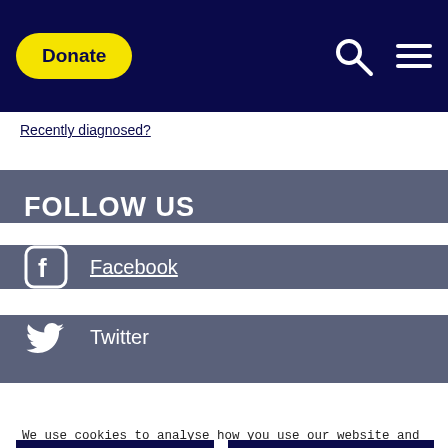Donate | Search | Menu
Recently diagnosed?
FOLLOW US
Facebook
Twitter
We use cookies to analyse how you use our website and to show you content tailored to your interests. By clicking 'Accept and Close' or clicking on a new page, you consent to our use of cookies. You can edit your preferences by clicking on 'Edit'. View our cookies policy
Edit
Accept and Close